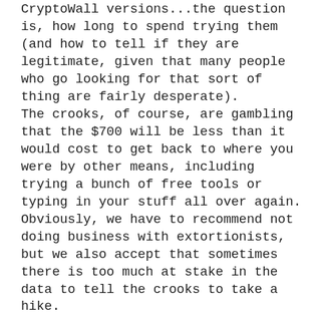CryptoWall versions...the question is, how long to spend trying them (and how to tell if they are legitimate, given that many people who go looking for that sort of thing are fairly desperate). The crooks, of course, are gambling that the $700 will be less than it would cost to get back to where you were by other means, including trying a bunch of free tools or typing in your stuff all over again. Obviously, we have to recommend not doing business with extortionists, but we also accept that sometimes there is too much at stake in the data to tell the crooks to take a hike. Having said that, if you possibly can, see if you can make do with restoring a clean PC, recovering your backup, cutting your losses, taking it on the chin, and being one of those victims who stuck it to the crooks. (If you do, please come back to this article and take some public pride, albeit anonymously...not much compensation, I admit but we'll pump the air on